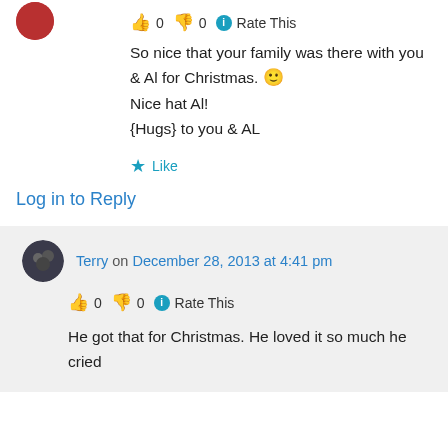[Figure (photo): Small red avatar/profile image in top left corner]
👍 0 👎 0 ℹ Rate This
So nice that your family was there with you & Al for Christmas. 🙂
Nice hat Al!
{Hugs} to you & AL
★ Like
Log in to Reply
[Figure (photo): Dark circular avatar for Terry]
Terry on December 28, 2013 at 4:41 pm
👍 0 👎 0 ℹ Rate This
He got that for Christmas. He loved it so much he cried